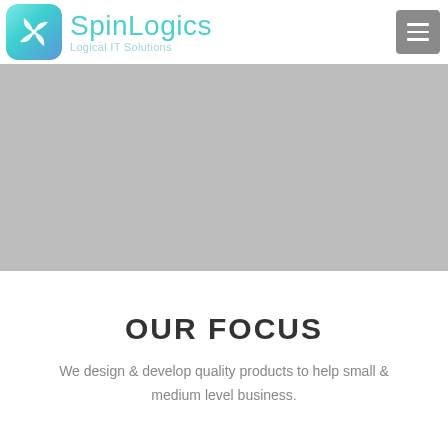[Figure (logo): SpinLogics logo with teal pinwheel icon and teal text reading 'SpinLogics' with subtitle 'Logical IT Solutions']
[Figure (illustration): Gray hero banner placeholder image]
OUR FOCUS
We design & develop quality products to help small & medium level business.